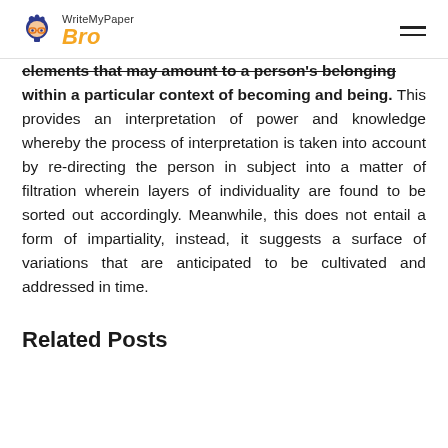WriteMyPaper Bro
elements that may amount to a person's belonging within a particular context of becoming and being. This provides an interpretation of power and knowledge whereby the process of interpretation is taken into account by re-directing the person in subject into a matter of filtration wherein layers of individuality are found to be sorted out accordingly. Meanwhile, this does not entail a form of impartiality, instead, it suggests a surface of variations that are anticipated to be cultivated and addressed in time.
Related Posts